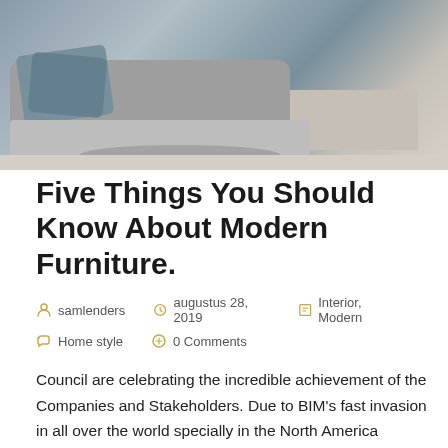[Figure (photo): Photo of a modern living room interior showing a grey sectional sofa with blue/teal cushions and a rug on the floor]
Five Things You Should Know About Modern Furniture.
samlenders  augustus 28, 2019  Interior, Modern  Home style  0 Comments
Council are celebrating the incredible achievement of the Companies and Stakeholders. Due to BIM's fast invasion in all over the world specially in the North America Region, we are one of the top 10 nominated Consultants for Council Architectural/Design Practice of the Year Award. Model Council are celebrating the incredible achievement of these Companies